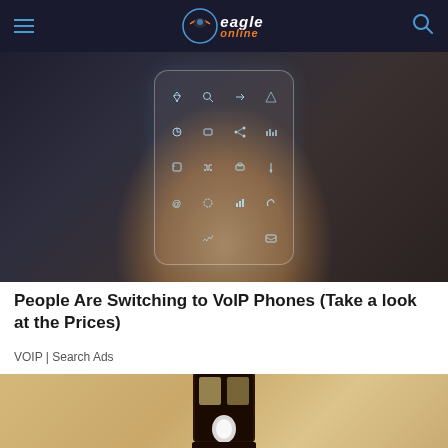Eagle Online — navigation bar with hamburger menu and search icon
[Figure (photo): Person holding a transparent smartphone with glowing app icons including cloud, search, airplane, clock, share, people, settings, lock, cart, map pin, at-sign, clock, bar chart, phone, envelope icons on a glass-like panel]
People Are Switching to VoIP Phones (Take a look at the Prices)
VOIP | Search Ads
[Figure (photo): Outdoor wall-mounted lantern light fixture against a textured stucco wall, showing a dark metal frame lantern with a white bulb visible]